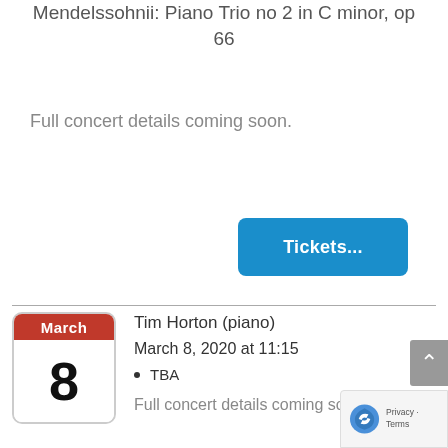Mendelssohnii: Piano Trio no 2 in C minor, op 66
Full concert details coming soon.
[Figure (other): Blue button labeled 'Tickets...']
Tim Horton (piano)
March 8, 2020 at 11:15
TBA
Full concert details coming soon.